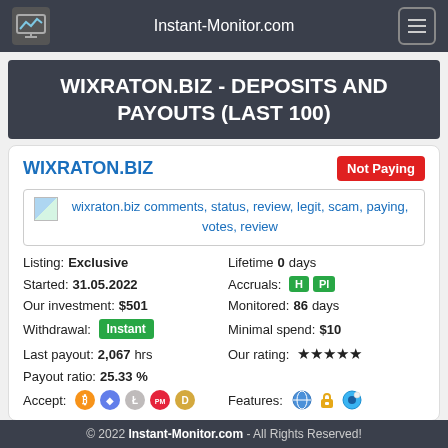Instant-Monitor.com
WIXRATON.BIZ - DEPOSITS AND PAYOUTS (LAST 100)
WIXRATON.BIZ — Not Paying
wixraton.biz comments, status, review, legit, scam, paying, votes, review
Listing: Exclusive | Lifetime 0 days | Started: 31.05.2022 | Accruals: H Pl | Our investment: $501 | Monitored: 86 days | Withdrawal: Instant | Minimal spend: $10 | Last payout: 2,067 hrs | Our rating: 4 stars | Payout ratio: 25.33 % | Accept: BTC ETH LTC PM D | Features: icons
© 2022 Instant-Monitor.com - All Rights Reserved!